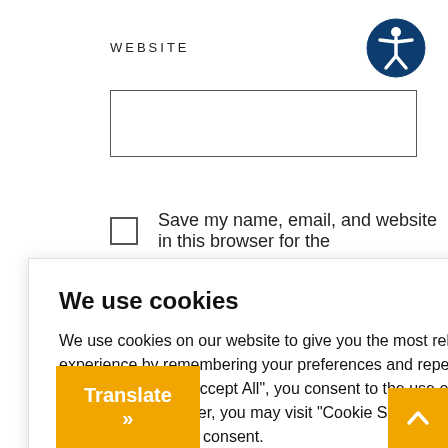WEBSITE
[Figure (illustration): Accessibility icon: person with arms and legs outstretched inside a circle, dark navy blue background]
Save my name, email, and website in this browser for the
We use cookies
We use cookies on our website to give you the most relevant experience by remembering your preferences and repeat visits. By clicking "Accept All", you consent to the use of ALL the cookies. However, you may visit "Cookie Settings" to provide a controlled consent.
Cookie Settings
Accept All
NEXT
NCE AND
RCH KEY
TO UNLOCKING
Translate »